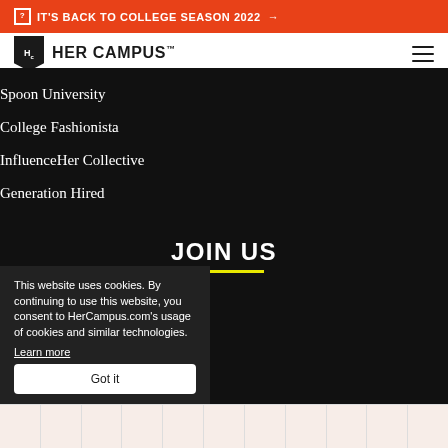🟧 IT'S BACK TO COLLEGE SEASON 2022 →
Hc HER CAMPUS™
Spoon University
College Fashionista
InfluenceHer Collective
Generation Hired
JOIN US
Write For Her Campus
Start a Chapter
Ambassadors
Influencer
Trendsetters
Tips
This website uses cookies. By continuing to use this website, you consent to HerCampus.com's usage of cookies and similar technologies. Learn more
Got it